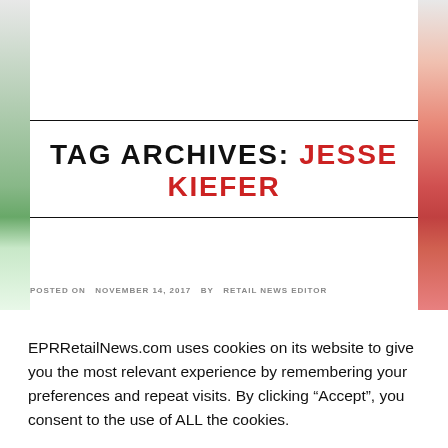[Figure (photo): Partial view of a retail/news website page with decorative image strips on left and right sides, white center area.]
TAG ARCHIVES: JESSE KIEFER
POSTED ON NOVEMBER 14, 2017 BY RETAIL NEWS EDITOR
EPRRetailNews.com uses cookies on its website to give you the most relevant experience by remembering your preferences and repeat visits. By clicking “Accept”, you consent to the use of ALL the cookies.
Cookie settings
ACCEPT